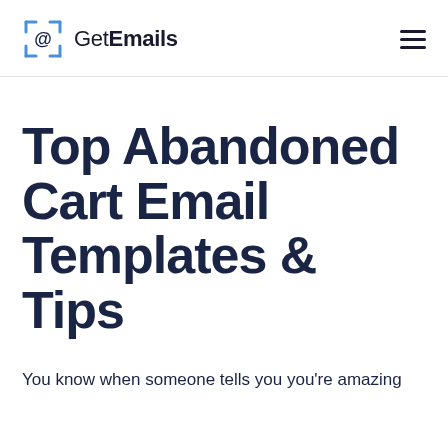GetEmails
Top Abandoned Cart Email Templates & Tips
You know when someone tells you you're amazing